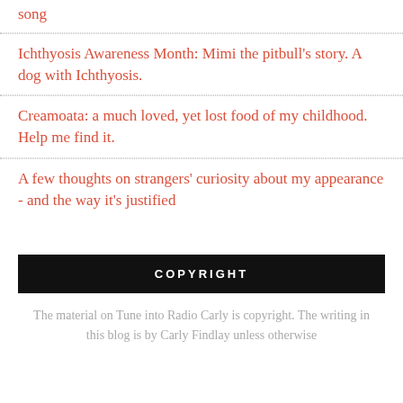song
Ichthyosis Awareness Month: Mimi the pitbull's story. A dog with Ichthyosis.
Creamoata: a much loved, yet lost food of my childhood. Help me find it.
A few thoughts on strangers' curiosity about my appearance - and the way it's justified
COPYRIGHT
The material on Tune into Radio Carly is copyright. The writing in this blog is by Carly Findlay unless otherwise